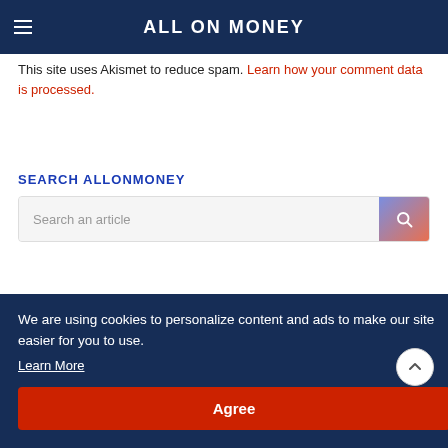ALL ON MONEY
This site uses Akismet to reduce spam. Learn how your comment data is processed.
SEARCH ALLONMONEY
Search an article
We are using cookies to personalize content and ads to make our site easier for you to use.
Learn More
Agree